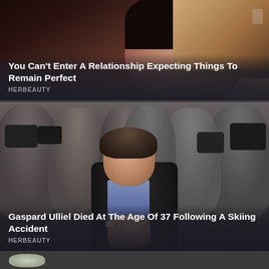[Figure (photo): Close-up photo of a woman's face, dark hair, red lips, against a warm door background]
You Can’t Enter A Relationship Expecting Things To Remain Perfect
HERBEAUTY
[Figure (photo): Photo of Gaspard Ulliel, a man in a dark coat with hands pressed together in prayer position, surrounded by paparazzi photographers at what appears to be a press event]
Gaspard Ulliel Died At The Age Of 37 Following A Skiing Accident
HERBEAUTY
[Figure (photo): Partial photo at bottom, appears to show a wintry or aerial scene]